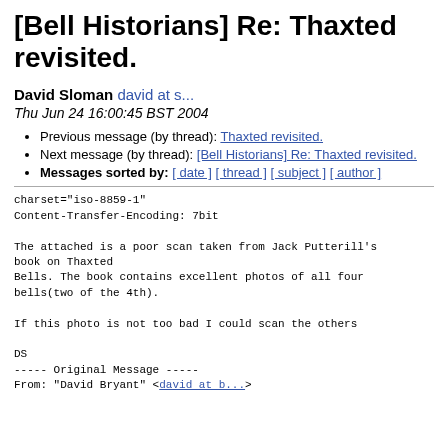[Bell Historians] Re: Thaxted revisited.
David Sloman david at s...
Thu Jun 24 16:00:45 BST 2004
Previous message (by thread): Thaxted revisited.
Next message (by thread): [Bell Historians] Re: Thaxted revisited.
Messages sorted by: [ date ] [ thread ] [ subject ] [ author ]
charset="iso-8859-1"
Content-Transfer-Encoding: 7bit

The attached is a poor scan taken from Jack Putterill's book on Thaxted
Bells. The book contains excellent photos of all four bells(two of the 4th).

If this photo is not too bad I could scan the others

DS
----- Original Message -----
From: "David Bryant" <david at b...>